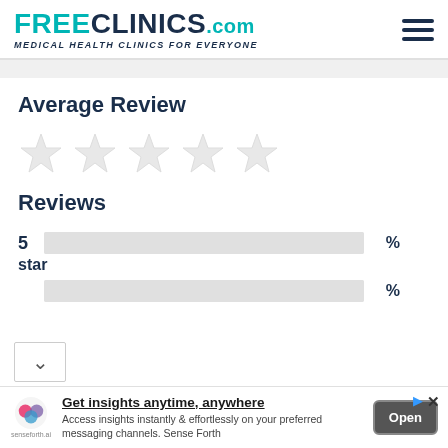[Figure (logo): FreeClinics.com logo with tagline 'Medical Health Clinics For Everyone' and hamburger menu icon]
Average Review
[Figure (other): Five empty/light gray star rating icons]
Reviews
5 star  %
4 star  %
[Figure (infographic): Advertisement banner: Get insights anytime, anywhere. Access insights instantly & effortlessly on your preferred messaging channels. Sense Forth. Open button. SenseForth.ai logo.]